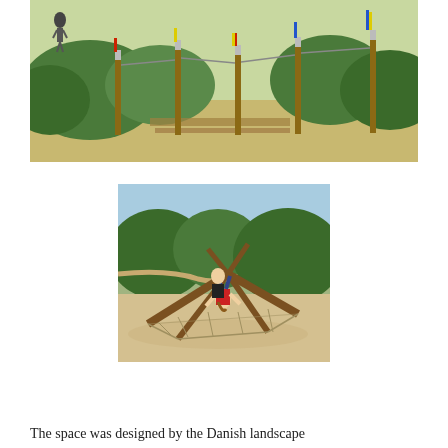[Figure (photo): Outdoor playground area with wooden poles topped with colorful flags (red, yellow, green, blue) arranged along a sandy path with lush green bushes and vegetation. A wooden boardwalk path visible, person walking in background.]
[Figure (photo): Two children playing on a natural rope and log climbing structure in a sandy playground area. One child is hanging upside down from the structure. Trees and a path visible in the background.]
The space was designed by the Danish landscape